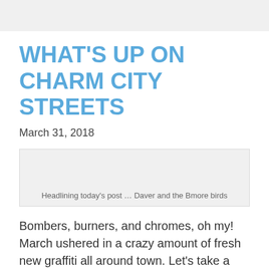WHAT'S UP ON CHARM CITY STREETS
March 31, 2018
[Figure (photo): Image placeholder box with caption: Headlining today's post … Daver and the Bmore birds]
Headlining today's post … Daver and the Bmore birds
Bombers, burners, and chromes, oh my! March ushered in a crazy amount of fresh new graffiti all around town. Let's take a look.